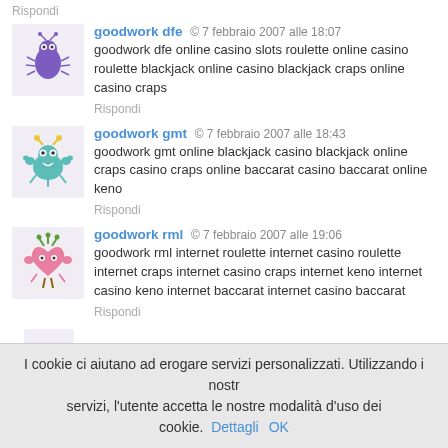Rispondi
goodwork dfe  ©  7 febbraio 2007 alle 18:07
goodwork dfe online casino slots roulette online casino roulette blackjack online casino blackjack craps online casino craps
Rispondi
goodwork gmt  ©  7 febbraio 2007 alle 18:43
goodwork gmt online blackjack casino blackjack online craps casino craps online baccarat casino baccarat online keno
Rispondi
goodwork rml  ©  7 febbraio 2007 alle 19:06
goodwork rml internet roulette internet casino roulette internet craps internet casino craps internet keno internet casino keno internet baccarat internet casino baccarat
Rispondi
I cookie ci aiutano ad erogare servizi personalizzati. Utilizzando i nostri servizi, l'utente accetta le nostre modalità d'uso dei cookie. Dettagli OK